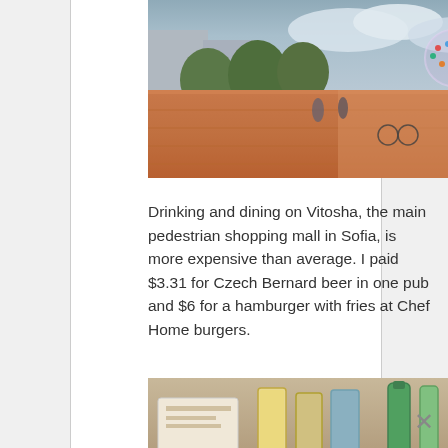[Figure (photo): Street view of Vitosha pedestrian mall in Sofia, Bulgaria — wide brick-paved boulevard with trees, people walking, and a large spherical sculpture in the background]
Drinking and dining on Vitosha, the main pedestrian shopping mall in Sofia, is more expensive than average. I paid $3.31 for Czech Bernard beer in one pub and $6 for a hamburger with fries at Chef Home burgers.
[Figure (photo): Close-up photo of drinks and condiments on a table at Chef Home burgers restaurant]